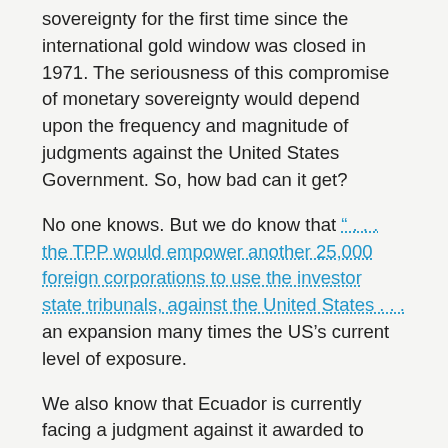sovereignty for the first time since the international gold window was closed in 1971. The seriousness of this compromise of monetary sovereignty would depend upon the frequency and magnitude of judgments against the United States Government. So, how bad can it get?
No one knows. But we do know that ". . . the TPP would empower another 25,000 foreign corporations to use the investor state tribunals, against the United States . . ." an expansion many times the US's current level of exposure.
We also know that Ecuador is currently facing a judgment against it awarded to Occidental Petroleum in the amount of $2.3 Billion for Ecuador's lawful termination of a contract for drilling rights. For Educador, a judgment of that size is comparable to one of $340 Billion against the United States, denominated in a foreign currency it cannot issue. (The Dollar is Ecuador's unit of account